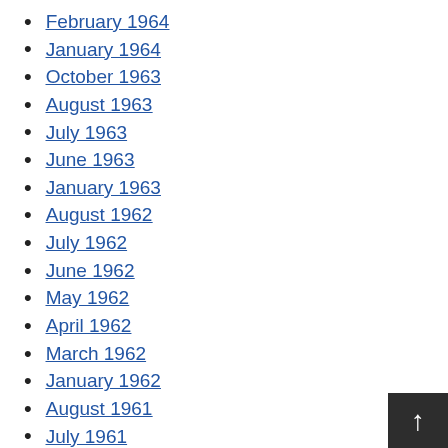February 1964
January 1964
October 1963
August 1963
July 1963
June 1963
January 1963
August 1962
July 1962
June 1962
May 1962
April 1962
March 1962
January 1962
August 1961
July 1961
May 1961
April 1961
March 1961